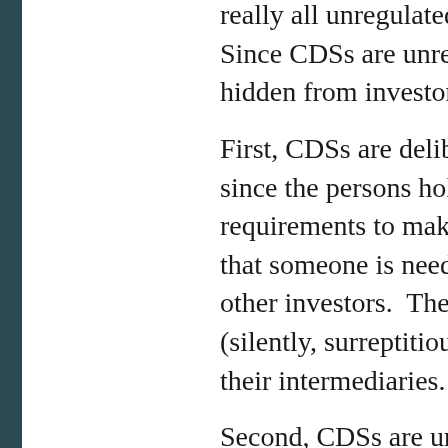really all unregulated substi... Since CDSs are unregulated, hidden from investors.
First, CDSs are deliberatel since the persons holding the requirements to make them u that someone is needed to 'ex other investors.  The "someo (silently, surreptitiously) hol their intermediaries.
Second, CDSs are underca parlance, they are under-rese more consequence of evadin Insurance:   Parties issuing C off their 'counterparties' or In